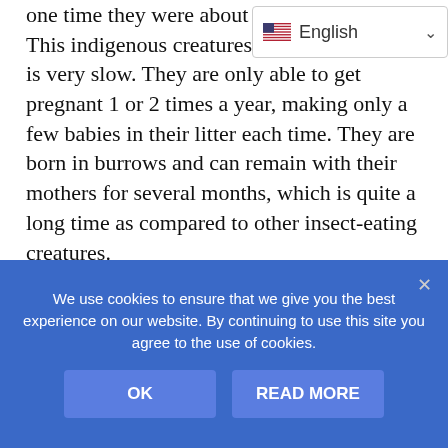one time they were about the only… This indigenous creatures reproduction cycle is very slow. They are only able to get pregnant 1 or 2 times a year, making only a few babies in their litter each time. They are born in burrows and can remain with their mothers for several months, which is quite a long time as compared to other insect-eating creatures.
The Hispaniola or Haitian Solenodons' numbers are dwindling rapidly. The colonizers of this island and the non-indigenous predators that include dogs and cats found this small insectivore to be quite tasty. Now with the massive deforestation happening here, especially in the east part of the
[Figure (screenshot): Language selector UI element showing US flag icon and 'English' text with dropdown chevron]
We use cookies to ensure that we give you the best experience on our website. By continuing to use this site you agree to the use of cookies.